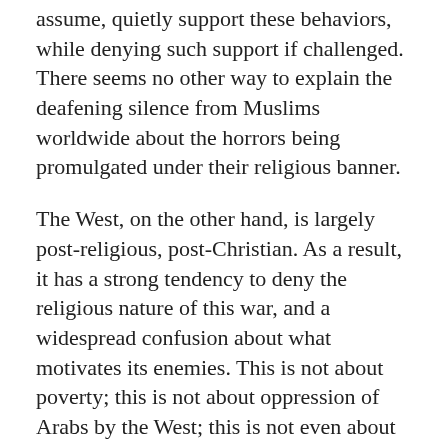assume, quietly support these behaviors, while denying such support if challenged. There seems no other way to explain the deafening silence from Muslims worldwide about the horrors being promulgated under their religious banner.
The West, on the other hand, is largely post-religious, post-Christian. As a result, it has a strong tendency to deny the religious nature of this war, and a widespread confusion about what motivates its enemies. This is not about poverty; this is not about oppression of Arabs by the West; this is not even about Israel and Palestine: this is about jihad. If you are–as large swaths of the West have become–utterly unfamiliar with the power of religious conviction to transform a life, you will utterly misunderstand the power of Islam to persist in violence, destruction, and murder in the name of God. Religion has an enormous, almost